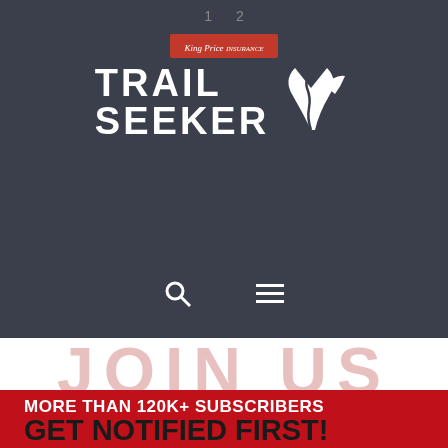1  2
[Figure (logo): King Price Insurance Trail Seeker logo with mountain graphic on dark navy background]
[Figure (other): Search and hamburger menu navigation icons]
JOIN US
MORE THAN 120K+ SUBSCRIBERS GET NOTIFIED FIRST!
[Figure (other): Name input field (white form field)]
[Figure (other): Last Name input field (white form field) with green WhatsApp Message Us button overlay]
[Figure (other): Email input field (white form field)]